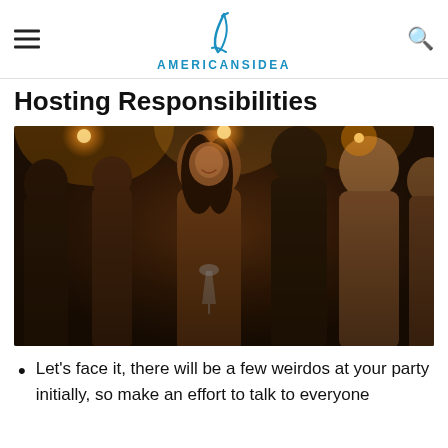AMERICANSIDEA
Hosting Responsibilities
[Figure (photo): Group of people socializing at a party, holding wine glasses, with warm bokeh lights in the background. A smiling woman with dark hair is in the center foreground.]
Let's face it, there will be a few weirdos at your party initially, so make an effort to talk to everyone